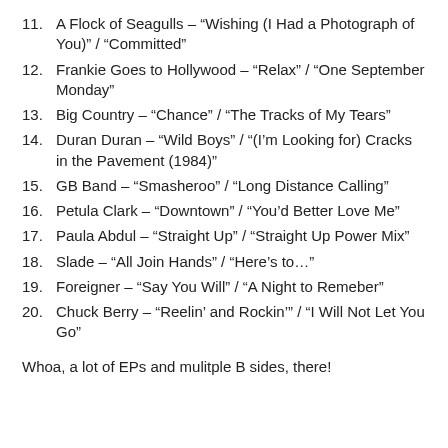11. A Flock of Seagulls – “Wishing (I Had a Photograph of You)” / “Committed”
12. Frankie Goes to Hollywood – “Relax” / “One September Monday”
13. Big Country – “Chance” / “The Tracks of My Tears”
14. Duran Duran – “Wild Boys” / “(I’m Looking for) Cracks in the Pavement (1984)”
15. GB Band – “Smasheroo” / “Long Distance Calling”
16. Petula Clark – “Downtown” / “You’d Better Love Me”
17. Paula Abdul – “Straight Up” / “Straight Up Power Mix”
18. Slade – “All Join Hands” / “Here’s to…”
19. Foreigner – “Say You Will” / “A Night to Remeber”
20. Chuck Berry – “Reelin’ and Rockin’” / “I Will Not Let You Go”
Whoa, a lot of EPs and mulitple B sides, there!